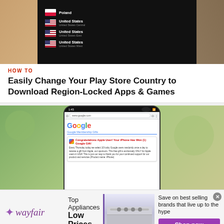[Figure (photo): Hand holding a smartphone showing a VPN app with country list including Poland and United States options on a dark background]
HOW TO
Easily Change Your Play Store Country to Download Region-Locked Apps & Games
[Figure (photo): Smartphone with punch-hole camera displaying Google website in a browser, showing a Google Membership Gifts page with a promotional message, held in front of a green background]
[Figure (photo): Wayfair advertisement banner: Top Appliances Low Prices, Save on best selling brands that live up to the hype, Shop now button, showing a kitchen range/oven appliance image]